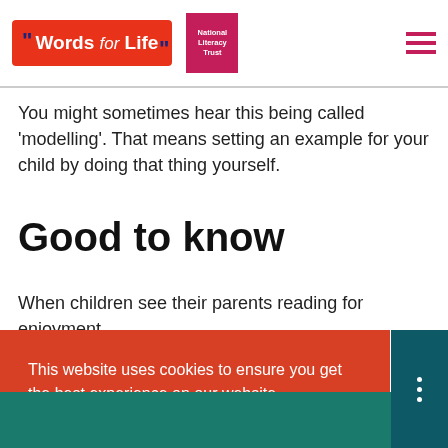Words for Life — National Literacy Trust
You might sometimes hear this being called 'modelling'. That means setting an example for your child by doing that thing yourself.
Good to know
When children see their parents reading for enjoyment,
This website uses cookies to ensure you get the best experience on our website. Learn more Got it!